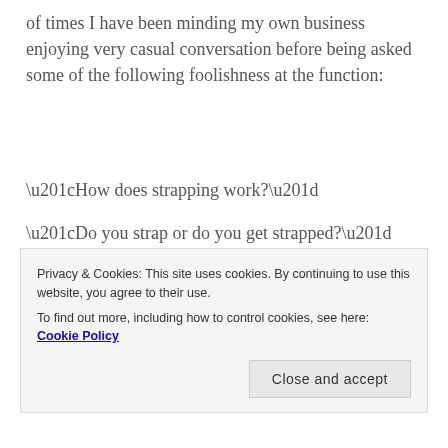of times I have been minding my own business enjoying very casual conversation before being asked some of the following foolishness at the function:
“How does strapping work?”
“Do you strap or do you get strapped?”
“So, why not just be with a guy?”
“YOU want to carry a baby??”
Privacy & Cookies: This site uses cookies. By continuing to use this website, you agree to their use.
To find out more, including how to control cookies, see here: Cookie Policy